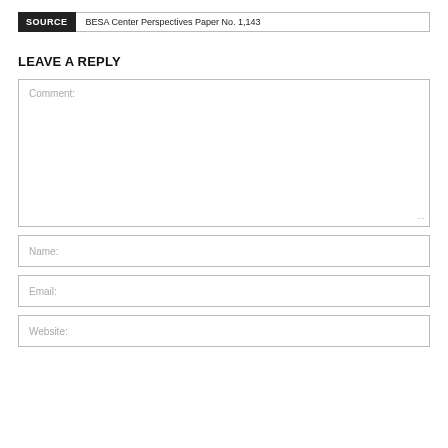SOURCE  BESA Center Perspectives Paper No. 1,143
LEAVE A REPLY
Comment:
Name:
Email:
Website: